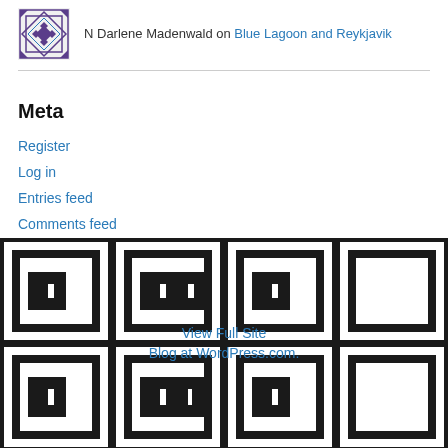N Darlene Madenwald on Blue Lagoon and Reykjavik
Meta
Register
Log in
Entries feed
Comments feed
WordPress.com
[Figure (illustration): Repeating decorative Greek key / meander pattern tiles in black and white, forming the page footer background. Overlaid links: 'View Full Site' and 'Blog at WordPress.com.']